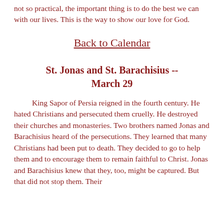not so practical, the important thing is to do the best we can with our lives. This is the way to show our love for God.
Back to Calendar
St. Jonas and St. Barachisius -- March 29
King Sapor of Persia reigned in the fourth century. He hated Christians and persecuted them cruelly. He destroyed their churches and monasteries. Two brothers named Jonas and Barachisius heard of the persecutions. They learned that many Christians had been put to death. They decided to go to help them and to encourage them to remain faithful to Christ. Jonas and Barachisius knew that they, too, might be captured. But that did not stop them. Their